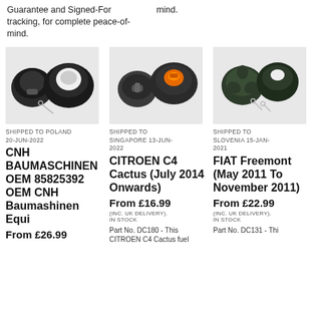Guarantee and Signed-For tracking, for complete peace-of-mind.
mind.
[Figure (photo): Two black fuel cap covers, one with key]
[Figure (photo): Two dark grey/black fuel caps, one with orange mechanism]
[Figure (photo): Two dark green fuel caps with keys]
SHIPPED TO POLAND 20-JUN-2022
SHIPPED TO SINGAPORE 13-JUN-2022
SHIPPED TO SLOVENIA 15-JAN-2021
CNH BAUMASCHINEN OEM 85825392 OEM CNH Baumashinen Equi
CITROEN C4 Cactus (July 2014 Onwards)
FIAT Freemont (May 2011 To November 2011)
From £26.99
From £16.99
From £22.99
(INC. UK DELIVERY). IN STOCK
(INC. UK DELIVERY). IN STOCK
Part No. DC180 - This CITROEN C4 Cactus fuel
Part No. DC131 - Thi